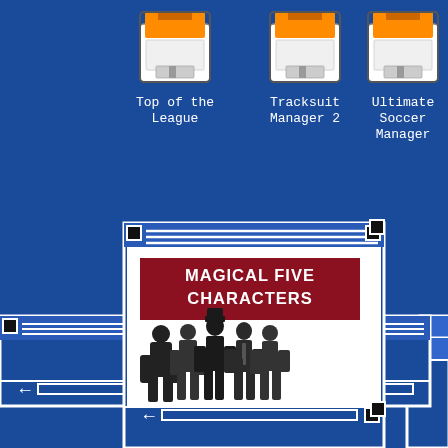[Figure (screenshot): Retro computer desktop screenshot showing three floppy disk icons labeled 'Top of the League', 'Tracksuit Manager 2', and 'Ultimate Soccer Manager', with two overlapping classic GUI windows and a bottom window showing a 'Magical Five Characters' game image with five silhouetted figures on a white background with a dark red banner.]